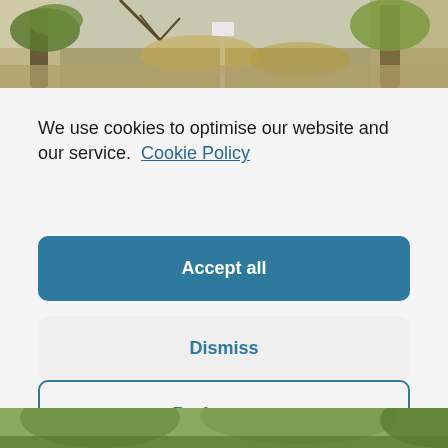[Figure (photo): Outdoor nature photo showing trees with ivy and bare branches against a sky, partially visible at top of page]
We use cookies to optimise our website and our service.  Cookie Policy
Accept all
Dismiss
Preferences
[Figure (photo): Outdoor nature photo partially visible at bottom of page showing trees with green foliage]